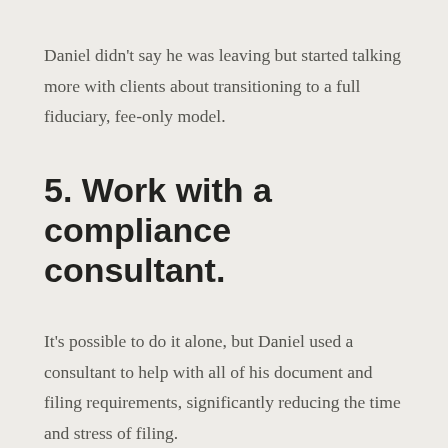Daniel didn't say he was leaving but started talking more with clients about transitioning to a full fiduciary, fee-only model.
5. Work with a compliance consultant.
It's possible to do it alone, but Daniel used a consultant to help with all of his document and filing requirements, significantly reducing the time and stress of filing.